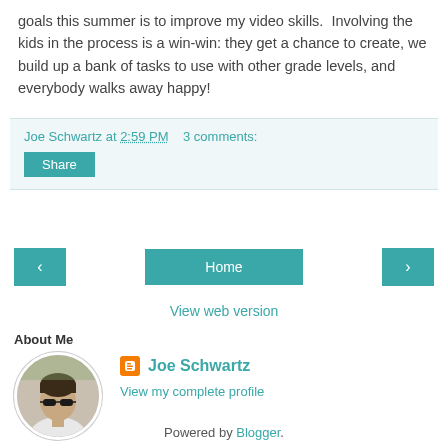goals this summer is to improve my video skills.  Involving the kids in the process is a win-win: they get a chance to create, we build up a bank of tasks to use with other grade levels, and everybody walks away happy!
Joe Schwartz at 2:59 PM   3 comments:
Share
‹  Home  ›
View web version
About Me
[Figure (photo): Circular profile photo of Joe Schwartz wearing sunglasses]
Joe Schwartz
View my complete profile
Powered by Blogger.